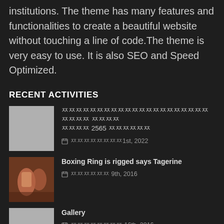institutions. The theme has many features and functionalities to create a beautiful website without touching a line of code.The theme is very easy to use. It is also SEO and Speed Optimized.
RECENT ACTIVITIES
[Thai text] 2565 [Thai text] | [Thai text]1st, 2022
Boxing Ring is rigged says Tagerine | [Thai text] 9th, 2016
Gallery | [Thai text] 16th, 2016